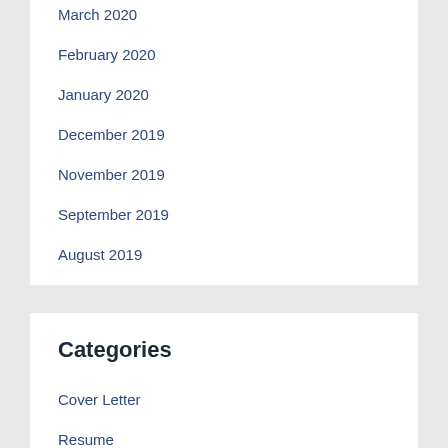March 2020
February 2020
January 2020
December 2019
November 2019
September 2019
August 2019
July 2019
June 2019
April 2019
March 2019
Categories
Cover Letter
Resume
Template